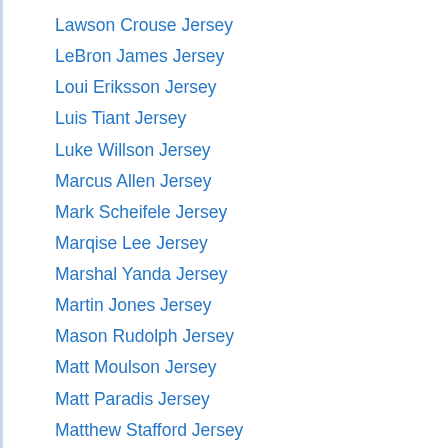Lawson Crouse Jersey
LeBron James Jersey
Loui Eriksson Jersey
Luis Tiant Jersey
Luke Willson Jersey
Marcus Allen Jersey
Mark Scheifele Jersey
Marqise Lee Jersey
Marshal Yanda Jersey
Martin Jones Jersey
Mason Rudolph Jersey
Matt Moulson Jersey
Matt Paradis Jersey
Matthew Stafford Jersey
Matthew Tkachuk Jersey
Miikka Salomaki Jersey
Mike Bossy Jersey